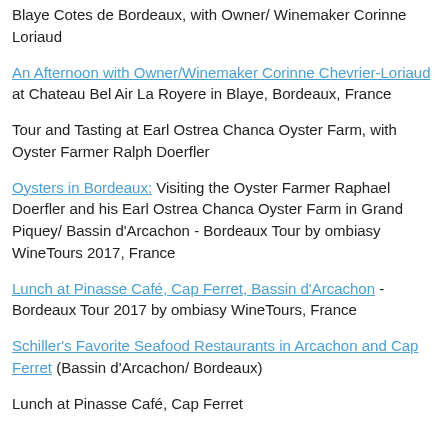Blaye Cotes de Bordeaux, with Owner/ Winemaker Corinne Loriaud
An Afternoon with Owner/Winemaker Corinne Chevrier-Loriaud at Chateau Bel Air La Royere in Blaye, Bordeaux, France
Tour and Tasting at Earl Ostrea Chanca Oyster Farm, with Oyster Farmer Ralph Doerfler
Oysters in Bordeaux: Visiting the Oyster Farmer Raphael Doerfler and his Earl Ostrea Chanca Oyster Farm in Grand Piquey/ Bassin d'Arcachon - Bordeaux Tour by ombiasy WineTours 2017, France
Lunch at Pinasse Café, Cap Ferret, Bassin d'Arcachon - Bordeaux Tour 2017 by ombiasy WineTours, France
Schiller's Favorite Seafood Restaurants in Arcachon and Cap Ferret (Bassin d'Arcachon/ Bordeaux)
Lunch at Pinasse Café, Cap Ferret